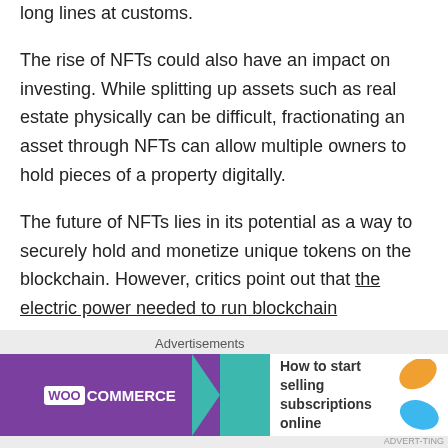long lines at customs.
The rise of NFTs could also have an impact on investing. While splitting up assets such as real estate physically can be difficult, fractionating an asset through NFTs can allow multiple owners to hold pieces of a property digitally.
The future of NFTs lies in its potential as a way to securely hold and monetize unique tokens on the blockchain. However, critics point out that the electric power needed to run blockchain technology is quickly becoming one of the leading causes of carbon emissions. As NFTs rise in popularity, the power necessary to run the
Advertisements
[Figure (infographic): WooCommerce advertisement banner with purple background, teal arrow shape, WooCommerce logo, and text 'How to start selling subscriptions online' with decorative orange and blue leaf shapes.]